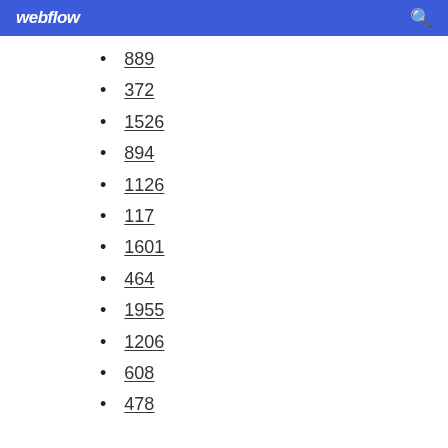webflow
889
372
1526
894
1126
117
1601
464
1955
1206
608
478